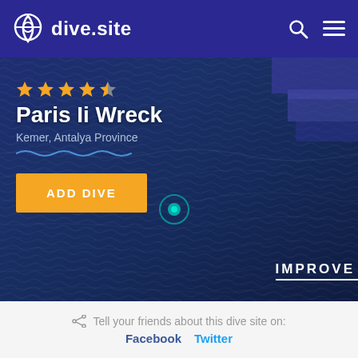dive.site
[Figure (screenshot): Aerial/satellite view of open dark blue ocean water with rippling wave texture. Top-right corner shows stepped geometric blue/purple gradient blocks. A teal circular map marker is visible near center. Text overlay includes star rating, site name 'Paris Ii Wreck', location 'Kemer, Antalya Province', wave underline decoration, orange 'ADD DIVE' button, and white 'IMPROVE' text with underline at bottom-right.]
Tell your friends about this dive site on:
Facebook  Twitter